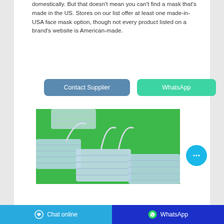domestically. But that doesn't mean you can't find a mask that's made in the US. Stores on our list offer at least one made-in-USA face mask option, though not every product listed on a brand's website is American-made.
[Figure (screenshot): Two buttons: 'Contact Supplier' (blue) and 'WhatsApp' (green/teal)]
[Figure (photo): Photo of multiple light blue surgical/face masks with ear loops on a bright green background]
[Figure (other): Circular blue chat bubble button with three dots (ellipsis) icon]
Chat online   WhatsApp